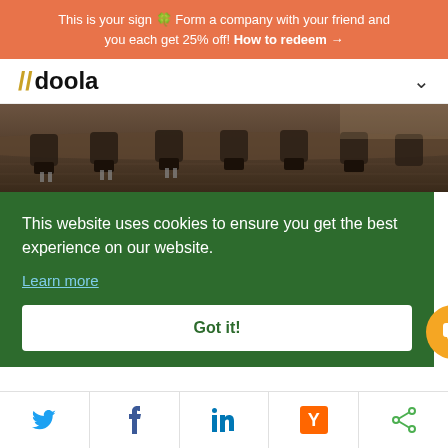This is your sign 🍀 Form a company with your friend and you each get 25% off! How to redeem →
[Figure (logo): doola logo with yellow double-slash and bold text]
[Figure (photo): Conference room with office chairs around a long table, sepia/dark toned]
This website uses cookies to ensure you get the best experience on our website. Learn more
Got it!
[Figure (infographic): Social sharing bar with Twitter, Facebook, LinkedIn, Hacker News (Y), and share icons]